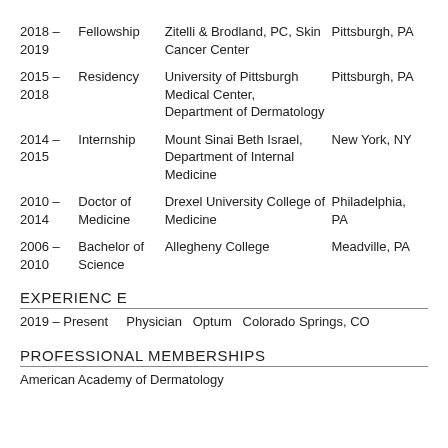| Years | Type | Institution | Location |
| --- | --- | --- | --- |
| 2018 – 2019 | Fellowship | Zitelli & Brodland, PC, Skin Cancer Center | Pittsburgh, PA |
| 2015 – 2018 | Residency | University of Pittsburgh Medical Center, Department of Dermatology | Pittsburgh, PA |
| 2014 – 2015 | Internship | Mount Sinai Beth Israel, Department of Internal Medicine | New York, NY |
| 2010 – 2014 | Doctor of Medicine | Drexel University College of Medicine | Philadelphia, PA |
| 2006 – 2010 | Bachelor of Science | Allegheny College | Meadville, PA |
EXPERIENCE
2019 – Present    Physician    Optum    Colorado Springs, CO
PROFESSIONAL MEMBERSHIPS
American Academy of Dermatology